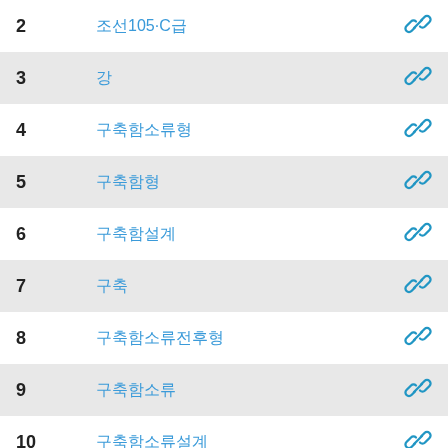| # | Text | Link |
| --- | --- | --- |
| 2 | 조선105-C급 | 🔗 |
| 3 | 강 | 🔗 |
| 4 | 구축함소류형 | 🔗 |
| 5 | 구축함형 | 🔗 |
| 6 | 구축함설계 | 🔗 |
| 7 | 구축 | 🔗 |
| 8 | 구축함소류전후형 | 🔗 |
| 9 | 구축함소류 | 🔗 |
| 10 | 구축함소류설계 | 🔗 |